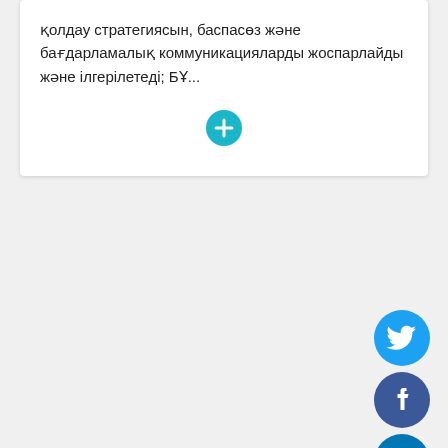қолдау стратегиясын, баспасөз және бағдарламалық коммуникацияларды жоспарлайды және ілгерілетеді; БҰ...
[Figure (infographic): Teal plus/expand button circle icon]
[Figure (infographic): Twitter social media icon - light blue circle with white bird]
[Figure (infographic): Facebook social media icon - dark blue circle with white f]
[Figure (infographic): LinkedIn social media icon - medium blue circle with white in]
[Figure (infographic): Email icon - dark gray circle with white envelope]